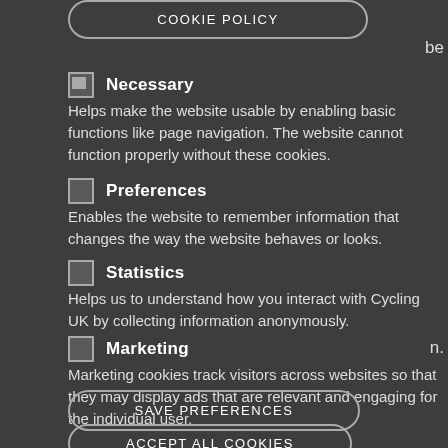COOKIE POLICY
Necessary
Helps make the website usable by enabling basic functions like page navigation. The website cannot function properly without these cookies.
Preferences
Enables the website to remember information that changes the way the website behaves or looks.
Statistics
Helps us to understand how you interact with Cycling UK by collecting information anonymously.
Marketing
Marketing cookies track visitors across websites so that they may display ads that are relevant and engaging for the individual user.
SAVE PREFERENCES
ACCEPT ALL COOKIES